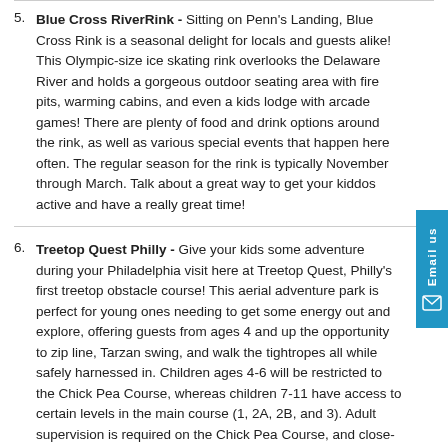Blue Cross RiverRink - Sitting on Penn's Landing, Blue Cross Rink is a seasonal delight for locals and guests alike! This Olympic-size ice skating rink overlooks the Delaware River and holds a gorgeous outdoor seating area with fire pits, warming cabins, and even a kids lodge with arcade games! There are plenty of food and drink options around the rink, as well as various special events that happen here often. The regular season for the rink is typically November through March. Talk about a great way to get your kiddos active and have a really great time!
Treetop Quest Philly - Give your kids some adventure during your Philadelphia visit here at Treetop Quest, Philly's first treetop obstacle course! This aerial adventure park is perfect for young ones needing to get some energy out and explore, offering guests from ages 4 and up the opportunity to zip line, Tarzan swing, and walk the tightropes all while safely harnessed in. Children ages 4-6 will be restricted to the Chick Pea Course, whereas children 7-11 have access to certain levels in the main course (1, 2A, 2B, and 3). Adult supervision is required on the Chick Pea Course, and close-toed shoes are a must on any course!
Legoland Discovery Center - Kids ages 3-12 are going to love this